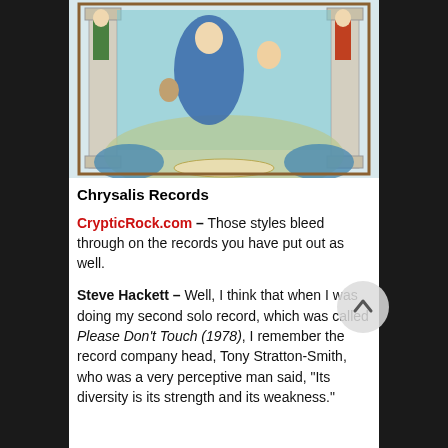[Figure (illustration): Album cover artwork for Steve Hackett's 'Please Don't Touch' on Chrysalis Records, showing a colorful illustrated scene with figures, columns, and ornate decorative elements in a baroque/fantasy style.]
Chrysalis Records
CrypticRock.com – Those styles bleed through on the records you have put out as well.
Steve Hackett – Well, I think that when I was doing my second solo record, which was called Please Don't Touch (1978), I remember the record company head, Tony Stratton-Smith, who was a very perceptive man said, “Its diversity is its strength and its weakness.”